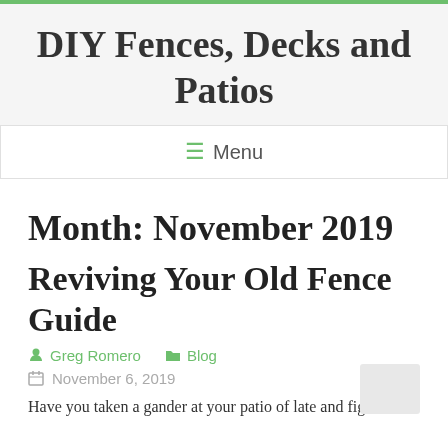DIY Fences, Decks and Patios
≡ Menu
Month: November 2019
Reviving Your Old Fence Guide
Greg Romero  Blog
November 6, 2019
Have you taken a gander at your patio of late and figured it